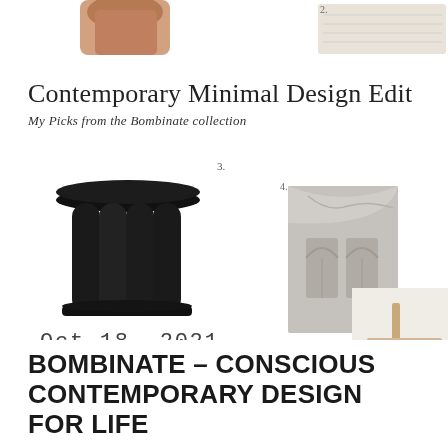[Figure (photo): Partially visible product images at top of page, partially cropped. Includes a small numbered label '2.' near a light-colored textile/rug product image at top right.]
Contemporary Minimal Design Edit
My Picks from the Bombinate collection
[Figure (photo): Black sculptural round side table with three-lobed pedestal base, labeled '3.' — a contemporary minimal furniture piece in matte black finish.]
[Figure (photo): Close-up detail of a grey concrete or stone sculptural object with archway/column details, labeled '4.']
[Figure (photo): Partially visible light-toned minimal wall-mounted furniture or shelf with warm wood/brass detail, labeled '6.' at top right, cropped at right edge.]
Oct 18, 2021
BOMBINATE – CONSCIOUS CONTEMPORARY DESIGN FOR LIFE